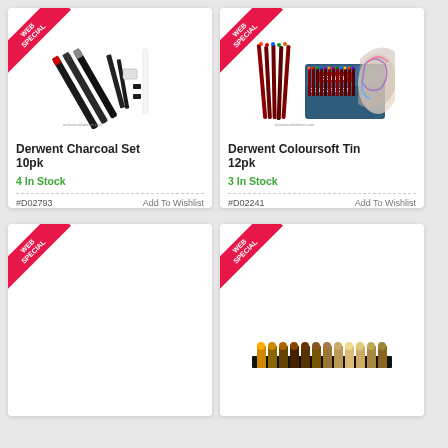[Figure (photo): Derwent Charcoal Set 10pk product image showing charcoal pencils and sticks with web special ribbon]
Derwent Charcoal Set 10pk
4 In Stock
#D02793  Add To Wishlist
€13.99  MORE INFO  €12.60  ADD TO CART
[Figure (photo): Derwent Coloursoft Tin 12pk product image showing coloured pencil tin with web special ribbon]
Derwent Coloursoft Tin 12pk
3 In Stock
#D02241  Add To Wishlist
€27.99  MORE INFO  €25.00  ADD TO CART
[Figure (photo): Partial product card bottom with web special ribbon]
[Figure (photo): Partial product card bottom with web special ribbon and pencil set visible]